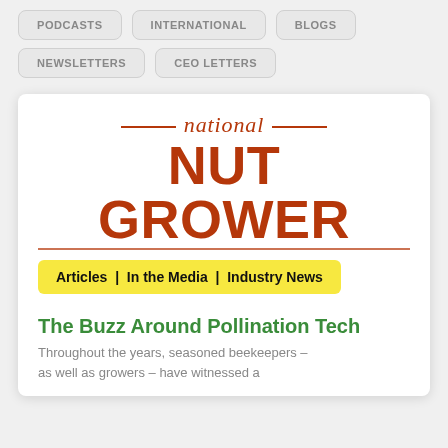PODCASTS
INTERNATIONAL
BLOGS
NEWSLETTERS
CEO LETTERS
[Figure (logo): National Nut Grower logo in brick red/brown color with script 'national' above large bold 'NUT GROWER' text]
Articles  |  In the Media  |  Industry News
The Buzz Around Pollination Tech
Throughout the years, seasoned beekeepers – as well as growers – have witnessed a